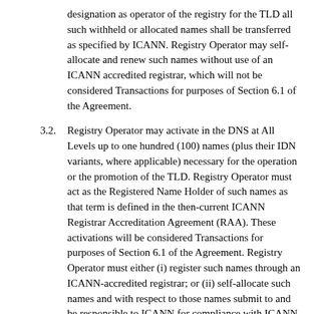designation as operator of the registry for the TLD all such withheld or allocated names shall be transferred as specified by ICANN. Registry Operator may self-allocate and renew such names without use of an ICANN accredited registrar, which will not be considered Transactions for purposes of Section 6.1 of the Agreement.
3.2. Registry Operator may activate in the DNS at All Levels up to one hundred (100) names (plus their IDN variants, where applicable) necessary for the operation or the promotion of the TLD. Registry Operator must act as the Registered Name Holder of such names as that term is defined in the then-current ICANN Registrar Accreditation Agreement (RAA). These activations will be considered Transactions for purposes of Section 6.1 of the Agreement. Registry Operator must either (i) register such names through an ICANN-accredited registrar; or (ii) self-allocate such names and with respect to those names submit to and be responsible to ICANN for compliance with ICANN Consensus Policies and the obligations set forth in Subsections 3.7.7.1 through 3.7.7.12 of the then-current RAA (or any other replacement clause setting out the